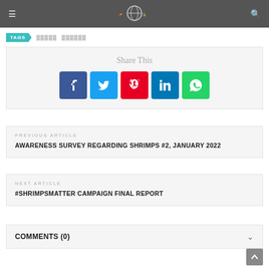Navigation bar with hamburger menu, logo, and search icon
TAGS  ████  ██████
Share This
[Figure (infographic): Social share buttons: Facebook, Twitter, Pinterest, LinkedIn, WhatsApp]
PREVIOUS ARTICLE
AWARENESS SURVEY REGARDING SHRIMPS #2, JANUARY 2022
NEXT ARTICLE
#SHRIMPSMATTER CAMPAIGN FINAL REPORT
COMMENTS (0)